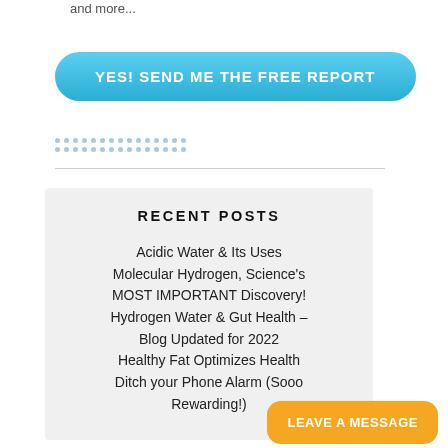and more...
[Figure (other): Blue rounded button with text: YES! SEND ME THE FREE REPORT]
[Figure (other): Two rows of small decorative blue dots]
RECENT POSTS
Acidic Water & Its Uses
Molecular Hydrogen, Science's MOST IMPORTANT Discovery!
Hydrogen Water & Gut Health – Blog Updated for 2022
Healthy Fat Optimizes Health
Ditch your Phone Alarm (Sooo Rewarding!)
[Figure (other): Orange rounded button with text: LEAVE A MESSAGE]